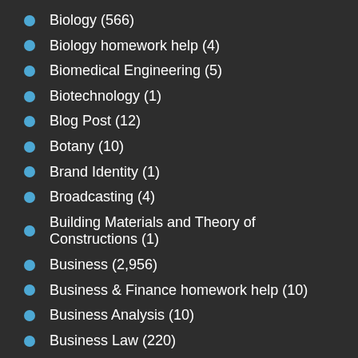Biology (566)
Biology homework help (4)
Biomedical Engineering (5)
Biotechnology (1)
Blog Post (12)
Botany (10)
Brand Identity (1)
Broadcasting (4)
Building Materials and Theory of Constructions (1)
Business (2,956)
Business & Finance homework help (10)
Business Analysis (10)
Business Law (220)
Business management (64)
Business Plans (22)